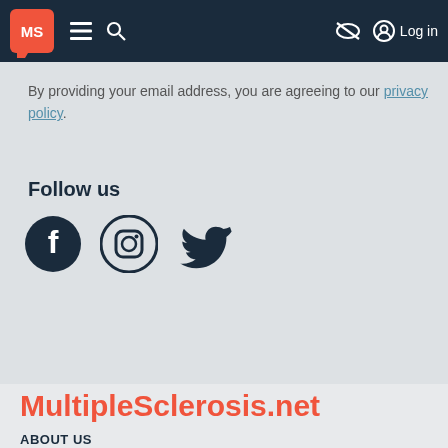MS | Menu | Search | Log in
By providing your email address, you are agreeing to our privacy policy.
Follow us
[Figure (illustration): Social media icons: Facebook, Instagram, Twitter]
MultipleSclerosis.net
ABOUT US
CONTACT US